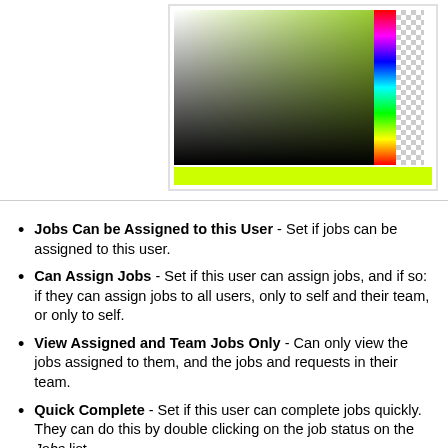[Figure (screenshot): Color picker widget showing a color gradient panel (yellow-green to black), a vertical color spectrum strip, a transparency checkerboard strip, and a yellow-green swatch bar at the bottom.]
Jobs Can be Assigned to this User - Set if jobs can be assigned to this user.
Can Assign Jobs - Set if this user can assign jobs, and if so: if they can assign jobs to all users, only to self and their team, or only to self.
View Assigned and Team Jobs Only - Can only view the jobs assigned to them, and the jobs and requests in their team.
Quick Complete - Set if this user can complete jobs quickly. They can do this by double clicking on the job status on the Jobs list.
Authorise Jobs - Can authorise jobs sent for authorisation (In "Need Auth" status).
Approve but Not Complete Job - If set to yes, user can only approve a job but not complete the job.
Authorise Requests - Can authorise requests sent for